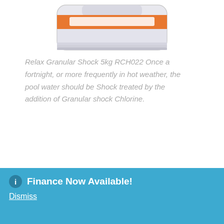[Figure (photo): Product photo of a white plastic container of Relax Granular Shock 5kg RCH022 with an orange lid/label, partially cropped at top]
Relax Granular Shock 5kg RCH022 Once a fortnight, or more frequently in hot weather, the pool water should be Shock treated by the addition of Granular shock Chlorine.
31 in stock
Buy now
Finance Now Available!
Dismiss